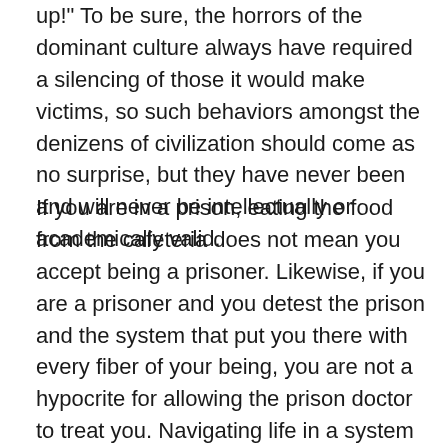up!" To be sure, the horrors of the dominant culture always have required a silencing of those it would make victims, so such behaviors amongst the denizens of civilization should come as no surprise, but they have never been and will never be intellectually or academically valid.
If you are in a prison, eating the food from the cafeteria does not mean you accept being a prisoner. Likewise, if you are a prisoner and you detest the prison and the system that put you there with every fiber of your being, you are not a hypocrite for allowing the prison doctor to treat you. Navigating life in a system of dominance, violence, and control is difficult and miserable, and if you have any designs to resist, whether to organize others on the inside with you to demand improvement of conditions, or to dig a tunnel and to escape, staying well fed and healthy in the mean time will be necessary for your